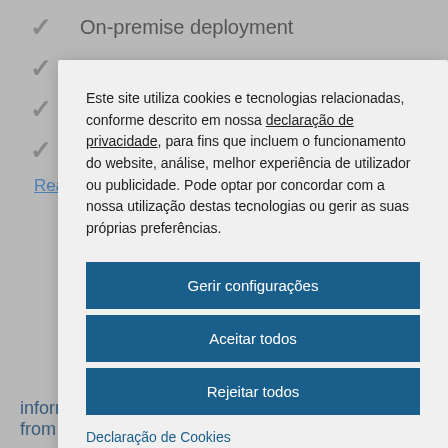On-premise deployment
Data quality and integration
Intuitive user interfaces
Simplified maintenance
Read the solution brief >
Este site utiliza cookies e tecnologias relacionadas, conforme descrito em nossa declaração de privacidade, para fins que incluem o funcionamento do website, análise, melhor experiência de utilizador ou publicidade. Pode optar por concordar com a nossa utilização destas tecnologias ou gerir as suas próprias preferências.
Gerir configurações
Aceitar todos
Rejeitar todos
Declaração de Cookies
information with access to data of any size and from